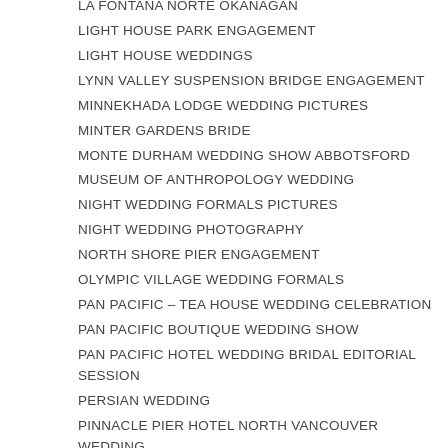LA FONTANA NORTE OKANAGAN
LIGHT HOUSE PARK ENGAGEMENT
LIGHT HOUSE WEDDINGS
LYNN VALLEY SUSPENSION BRIDGE ENGAGEMENT
MINNEKHADA LODGE WEDDING PICTURES
MINTER GARDENS BRIDE
MONTE DURHAM WEDDING SHOW ABBOTSFORD
MUSEUM OF ANTHROPOLOGY WEDDING
NIGHT WEDDING FORMALS PICTURES
NIGHT WEDDING PHOTOGRAPHY
NORTH SHORE PIER ENGAGEMENT
OLYMPIC VILLAGE WEDDING FORMALS
PAN PACIFIC – TEA HOUSE WEDDING CELEBRATION
PAN PACIFIC BOUTIQUE WEDDING SHOW
PAN PACIFIC HOTEL WEDDING BRIDAL EDITORIAL SESSION
PERSIAN WEDDING
PINNACLE PIER HOTEL NORTH VANCOUVER WEDDING